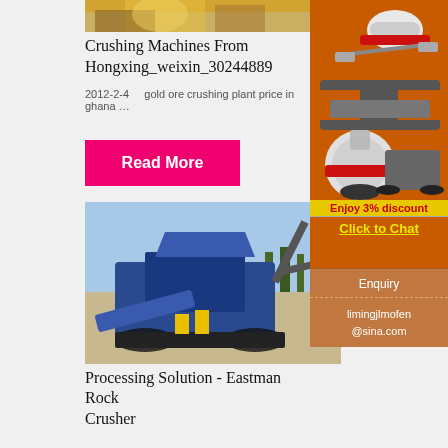[Figure (photo): Industrial crushing machine / processing equipment at top of article]
Crushing Machines From Hongxing_weixin_30244889
2012-2-4    gold ore crushing plant price in ghana …
Read More
[Figure (photo): Blue mobile rock crusher / processing machine on rocky terrain outdoors]
Processing Solution - Eastman Rock Crusher
[Figure (photo): Advertisement sidebar showing industrial crushing machines on orange background]
Enjoy 3% discount
Click to Chat
Enquiry
limingjlmofen @sina.com